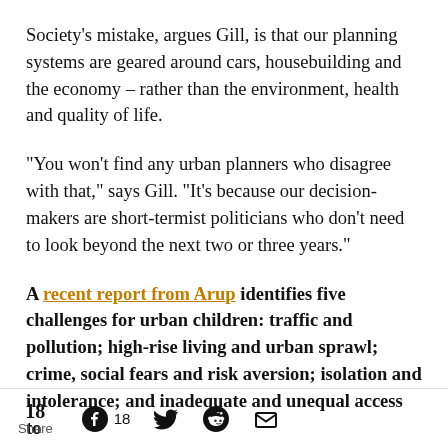Society's mistake, argues Gill, is that our planning systems are geared around cars, housebuilding and the economy – rather than the environment, health and quality of life.
“You won’t find any urban planners who disagree with that,” says Gill. “It’s because our decision-makers are short-termist politicians who don’t need to look beyond the next two or three years.”
A recent report from Arup identifies five challenges for urban children: traffic and pollution; high-rise living and urban sprawl; crime, social fears and risk aversion; isolation and intolerance; and inadequate and unequal access to
18 Share  18